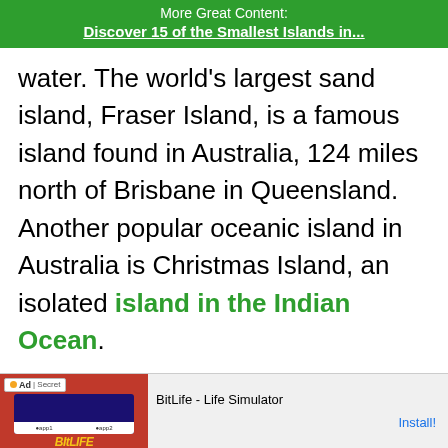More Great Content:
Discover 15 of the Smallest Islands in...
water. The world’s largest sand island, Fraser Island, is a famous island found in Australia, 124 miles north of Brisbane in Queensland. Another popular oceanic island in Australia is Christmas Island, an isolated island in the Indian Ocean.
[Figure (other): Advertisement banner for BitLife - Life Simulator app with red background and install button]